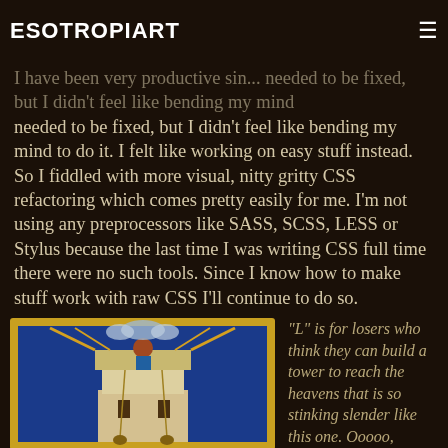ESOTROPIART
I have been very productive sin... needed to be fixed, but I didn't feel like bending my mind to do it. I felt like working on easy stuff instead. So I fiddled with more visual, nitty gritty CSS refactoring which comes pretty easily for me. I'm not using any preprocessors like SASS, SCSS, LESS or Stylus because the last time I was writing CSS full time there were no such tools. Since I know how to make stuff work with raw CSS I'll continue to do so.
[Figure (illustration): Medieval illuminated manuscript illustration of the Tower of Babel — a tall slender tower with workers at the top, gold architectural framing, blue background with angels or clouds at the top.]
"L" is for losers who think they can build a tower to reach the heavens that is so stinking slender like this one. Ooooo,